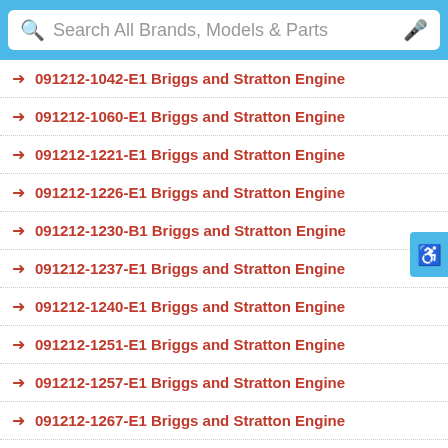[Figure (screenshot): Search bar with magnifying glass icon and microphone icon, placeholder text 'Search All Brands, Models & Parts', styled with blue background border]
091212-1042-E1 Briggs and Stratton Engine
091212-1060-E1 Briggs and Stratton Engine
091212-1221-E1 Briggs and Stratton Engine
091212-1226-E1 Briggs and Stratton Engine
091212-1230-B1 Briggs and Stratton Engine
091212-1237-E1 Briggs and Stratton Engine
091212-1240-E1 Briggs and Stratton Engine
091212-1251-E1 Briggs and Stratton Engine
091212-1257-E1 Briggs and Stratton Engine
091212-1267-E1 Briggs and Stratton Engine
091212-1267-E2 Briggs and Stratton Engine
091212-1269-E1 Briggs and Stratton Engine